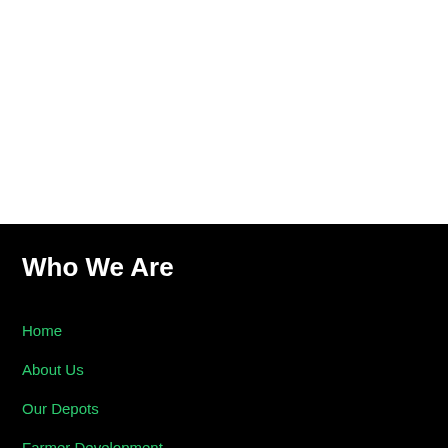Who We Are
Home
About Us
Our Depots
Farmer Development